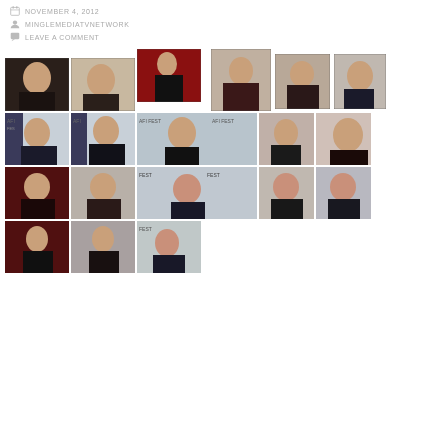NOVEMBER 4, 2012
MINGLEMEDIATVNETWORK
LEAVE A COMMENT
[Figure (photo): Grid of celebrity red carpet and event photos from AFI Fest, showing various women in dark outfits on red carpet and at event backdrops with AFI FEST and Audi logos.]